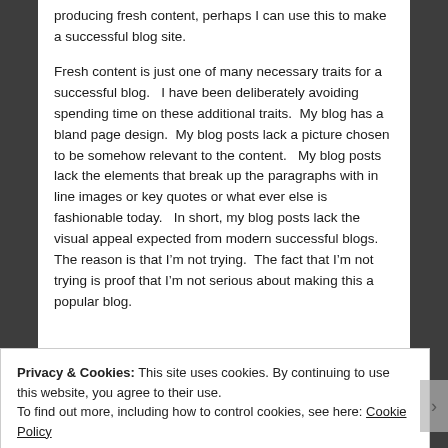producing fresh content, perhaps I can use this to make a successful blog site.

Fresh content is just one of many necessary traits for a successful blog.   I have been deliberately avoiding spending time on these additional traits.  My blog has a bland page design.  My blog posts lack a picture chosen to be somehow relevant to the content.   My blog posts lack the elements that break up the paragraphs with in line images or key quotes or what ever else is fashionable today.   In short, my blog posts lack the visual appeal expected from modern successful blogs.   The reason is that I'm not trying.  The fact that I'm not trying is proof that I'm not serious about making this a popular blog.
Privacy & Cookies: This site uses cookies. By continuing to use this website, you agree to their use.
To find out more, including how to control cookies, see here: Cookie Policy
Close and accept